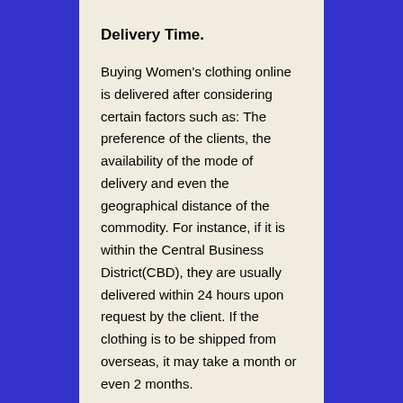Delivery Time.
Buying Women's clothing online is delivered after considering certain factors such as: The preference of the clients, the availability of the mode of delivery and even the geographical distance of the commodity. For instance, if it is within the Central Business District(CBD), they are usually delivered within 24 hours upon request by the client. If the clothing is to be shipped from overseas, it may take a month or even 2 months.
Wash and Care Instructions
One must pay attention to the label of the cloth so that if at any point they are instructions that